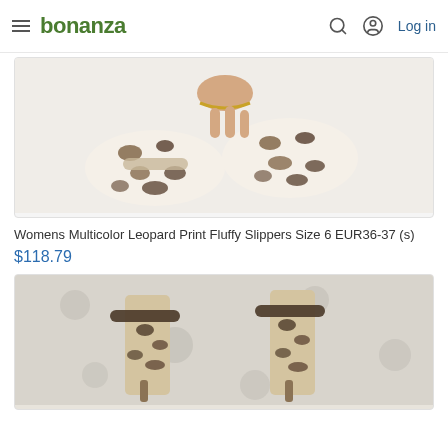bonanza | Log in
[Figure (photo): Womens fluffy leopard print slippers being held from above, showing animal print pattern on white/cream background. Gold chain anklet visible on wrist.]
Womens Multicolor Leopard Print Fluffy Slippers Size 6 EUR36-37 (s)
$118.79
[Figure (photo): Leopard print high heel sandals with ankle strap, photographed from behind on a floral fabric background.]